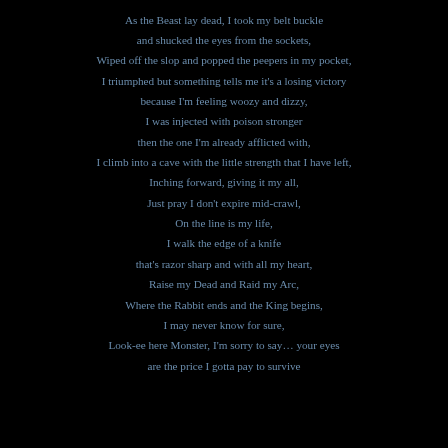As the Beast lay dead, I took my belt buckle
and shucked the eyes from the sockets,
Wiped off the slop and popped the peepers in my pocket,
I triumphed but something tells me it's a losing victory
because I'm feeling woozy and dizzy,
I was injected with poison stronger
then the one I'm already afflicted with,
I climb into a cave with the little strength that I have left,
Inching forward, giving it my all,
Just pray I don't expire mid-crawl,
On the line is my life,
I walk the edge of a knife
that's razor sharp and with all my heart,
Raise my Dead and Raid my Arc,
Where the Rabbit ends and the King begins,
I may never know for sure,
Look-ee here Monster, I'm sorry to say… your eyes
are the price I gotta pay to survive